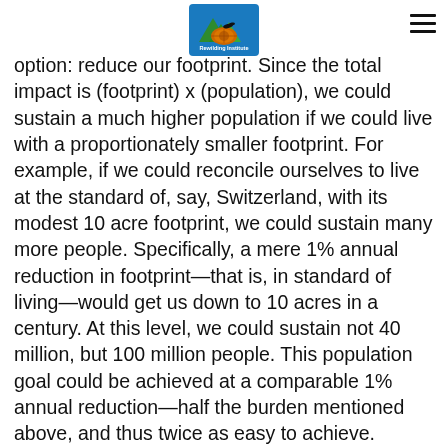Rewilding Institute logo and hamburger menu
option: reduce our footprint. Since the total impact is (footprint) x (population), we could sustain a much higher population if we could live with a proportionately smaller footprint. For example, if we could reconcile ourselves to live at the standard of, say, Switzerland, with its modest 10 acre footprint, we could sustain many more people. Specifically, a mere 1% annual reduction in footprint—that is, in standard of living—would get us down to 10 acres in a century. At this level, we could sustain not 40 million, but 100 million people. This population goal could be achieved at a comparable 1% annual reduction—half the burden mentioned above, and thus twice as easy to achieve.